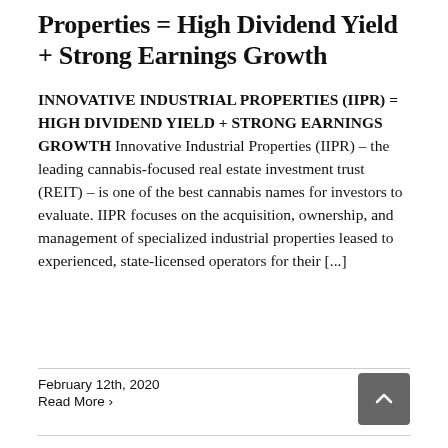Properties = High Dividend Yield + Strong Earnings Growth
INNOVATIVE INDUSTRIAL PROPERTIES (IIPR) = HIGH DIVIDEND YIELD + STRONG EARNINGS GROWTH Innovative Industrial Properties (IIPR) – the leading cannabis-focused real estate investment trust (REIT) – is one of the best cannabis names for investors to evaluate. IIPR focuses on the acquisition, ownership, and management of specialized industrial properties leased to experienced, state-licensed operators for their [...]
February 12th, 2020
Read More ›